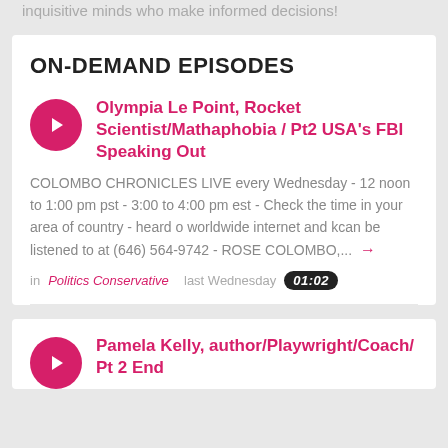inquisitive minds who make informed decisions!
ON-DEMAND EPISODES
[Figure (illustration): Pink circular play button icon for episode 1]
Olympia Le Point, Rocket Scientist/Mathaphobia / Pt2 USA's FBI Speaking Out
COLOMBO CHRONICLES LIVE every Wednesday - 12 noon to 1:00 pm pst - 3:00 to 4:00 pm est - Check the time in your area of country - heard o worldwide internet and kcan be listened to at (646) 564-9742 - ROSE COLOMBO,... →
in Politics Conservative   last Wednesday   01:02
[Figure (illustration): Pink circular play button icon for episode 2]
Pamela Kelly, author/Playwright/Coach/ Pt 2 End